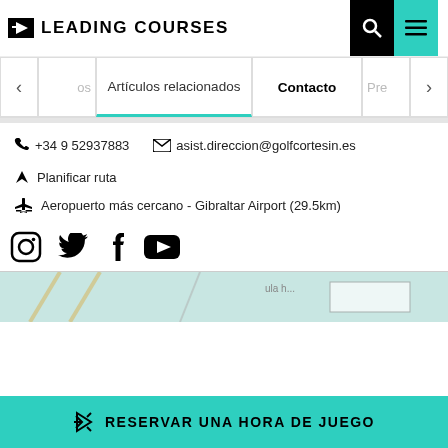LEADING COURSES
Artículos relacionados | Contacto | Pre
+34 9 52937883   asist.direccion@golfcortesin.es
Planificar ruta
Aeropuerto más cercano - Gibraltar Airport (29.5km)
[Figure (screenshot): Social media icons: Instagram, Twitter, Facebook, YouTube]
[Figure (map): Map thumbnail showing golf course location]
RESERVAR UNA HORA DE JUEGO